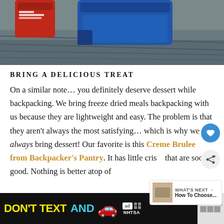[Figure (photo): Top portion of a photo showing camping/backpacking food items including a red container and blue container on rocky ground]
BRING A DELICIOUS TREAT
On a similar note… you definitely deserve dessert while backpacking. We bring freeze dried meals backpacking with us because they are lightweight and easy. The problem is that they aren't always the most satisfying… which is why we always bring dessert! Our favorite is this Creme Brulee from Backpacker's Pantry. It has little cris… that are soooo good. Nothing is better atop of
[Figure (screenshot): Advertisement banner: DON'T TEXT AND [car emoji] with NHTSA logo and ad badge]